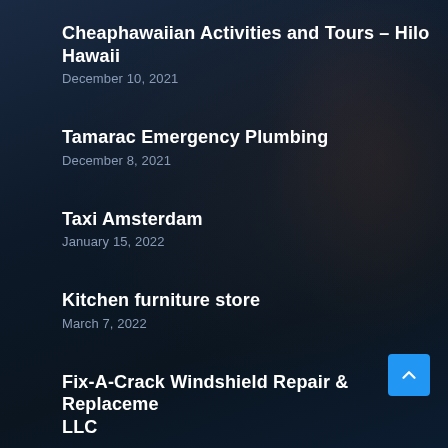Cheaphawaiian Activities and Tours – Hilo Hawaii
December 10, 2021
Tamarac Emergency Plumbing
December 8, 2021
Taxi Amsterdam
January 15, 2022
Kitchen furniture store
March 7, 2022
Fix-A-Crack Windshield Repair & Replacement, LLC